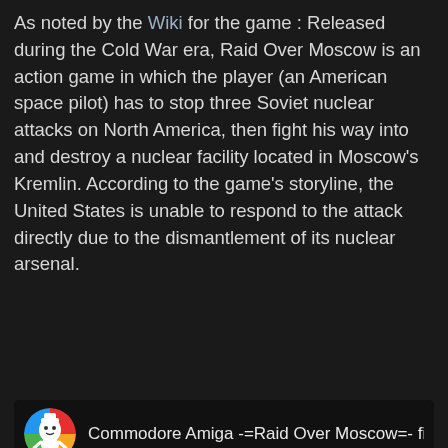As noted by the Wiki for the game : Released during the Cold War era, Raid Over Moscow is an action game in which the player (an American space pilot) has to stop three Soviet nuclear attacks on North America, then fight his way into and destroy a nuclear facility located in Moscow's Kremlin. According to the game's storyline, the United States is unable to respond to the attack directly due to the dismantlement of its nuclear arsenal.
[Figure (screenshot): Embedded YouTube video thumbnail showing 'Commodore Amiga -=Raid Over Moscow=- first' with a channel icon (colorful cartoon character) and a play button on a black background.]